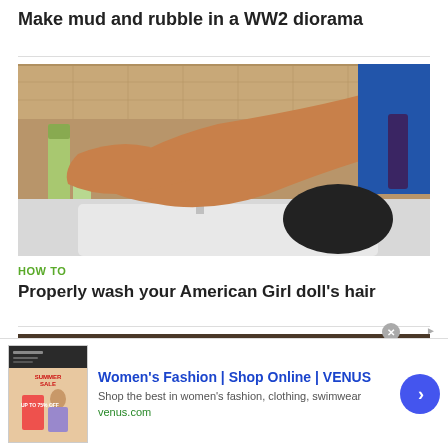Make mud and rubble in a WW2 diorama
[Figure (photo): Person washing an American Girl doll's hair at a sink, holding a blue bottle over the doll]
HOW TO
Properly wash your American Girl doll's hair
[Figure (photo): Partial photo of hands near a sink, bottom of article image]
[Figure (other): Advertisement for Women's Fashion | Shop Online | VENUS. Image of summer sale clothing. Text: Shop the best in women's fashion, clothing, swimwear. venus.com]